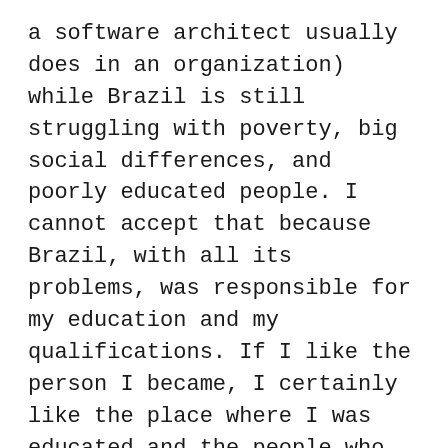a software architect usually does in an organization) while Brazil is still struggling with poverty, big social differences, and poorly educated people. I cannot accept that because Brazil, with all its problems, was responsible for my education and my qualifications. If I like the person I became, I certainly like the place where I was educated and the people who educated me.
To have peace of mind and no regrets, I've built a way that my staying in Europe, at least for a while, doesn't imply in abandoning my homeland. I'm actually investing my free time to co-lead the Ceara Java User Group (CEJUG), helping on the technical education of Ceara's developer community. By doing this, I'm